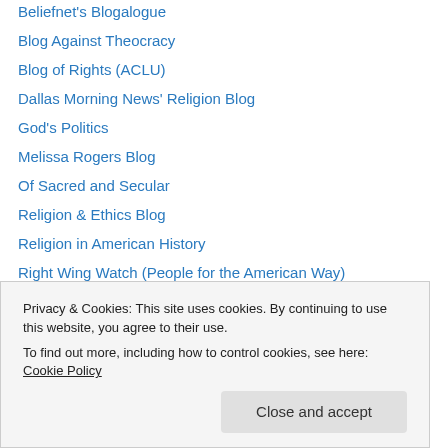Beliefnet's Blogalogue
Blog Against Theocracy
Blog of Rights (ACLU)
Dallas Morning News' Religion Blog
God's Politics
Melissa Rogers Blog
Of Sacred and Secular
Religion & Ethics Blog
Religion in American History
Right Wing Watch (People for the American Way)
Street Prophets
Talk2Action
Privacy & Cookies: This site uses cookies. By continuing to use this website, you agree to their use.
To find out more, including how to control cookies, see here: Cookie Policy